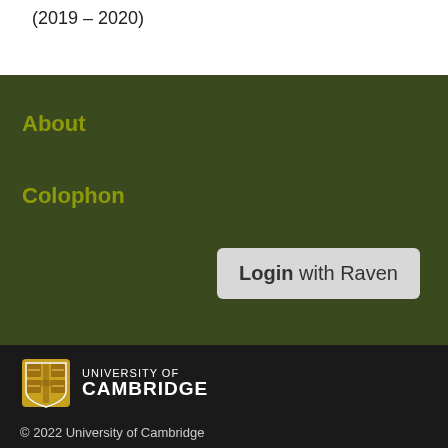(2019 – 2020)
About
Colophon
Login with Raven
[Figure (logo): University of Cambridge shield logo with text UNIVERSITY OF CAMBRIDGE]
© 2022 University of Cambridge